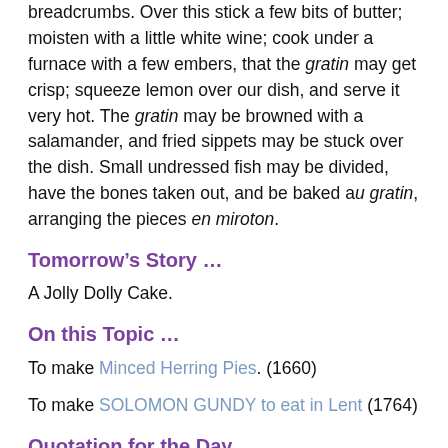breadcrumbs. Over this stick a few bits of butter; moisten with a little white wine; cook under a furnace with a few embers, that the gratin may get crisp; squeeze lemon over our dish, and serve it very hot. The gratin may be browned with a salamander, and fried sippets may be stuck over the dish. Small undressed fish may be divided, have the bones taken out, and be baked au gratin, arranging the pieces en miroton.
Tomorrow’s Story …
A Jolly Dolly Cake.
On this Topic …
To make Minced Herring Pies. (1660)
To make SOLOMON GUNDY to eat in Lent (1764)
Quotation for the Day …
Some fishes become extinct, but Herrings go on forever. Herrings spawn at all times and places and nothing will induce them to change their ways. The herring, a fish noted